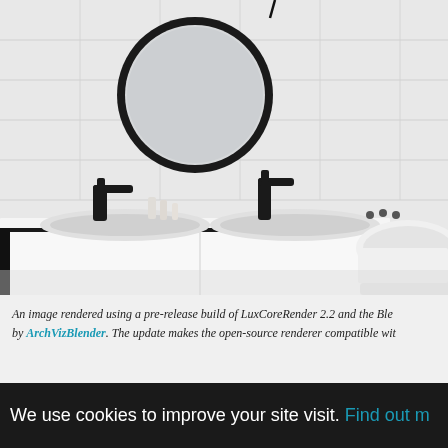[Figure (photo): A modern bathroom interior with double sinks, black faucets, a round black-framed mirror, white tiled walls, and a freestanding white bathtub on the right side.]
An image rendered using a pre-release build of LuxCoreRender 2.2 and the Blender add-on by ArchVizBlender. The update makes the open-source renderer compatible with
We use cookies to improve your site visit. Find out m